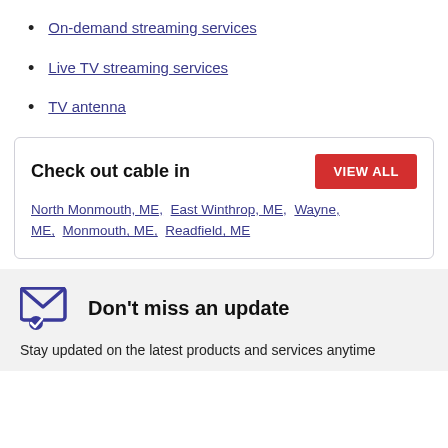On-demand streaming services
Live TV streaming services
TV antenna
Check out cable in
North Monmouth, ME,  East Winthrop, ME,  Wayne, ME,  Monmouth, ME,  Readfield, ME
Don't miss an update
Stay updated on the latest products and services anytime